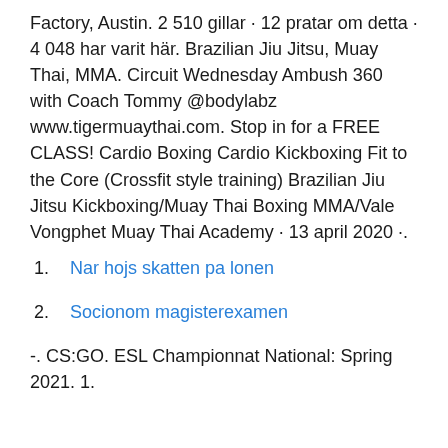Factory, Austin. 2 510 gillar · 12 pratar om detta · 4 048 har varit här. Brazilian Jiu Jitsu, Muay Thai, MMA. Circuit Wednesday Ambush 360 with Coach Tommy @bodylabz www.tigermuaythai.com. Stop in for a FREE CLASS! Cardio Boxing Cardio Kickboxing Fit to the Core (Crossfit style training) Brazilian Jiu Jitsu Kickboxing/Muay Thai Boxing MMA/Vale  Vongphet Muay Thai Academy · 13 april 2020 ·.
1. Nar hojs skatten pa lonen
2. Socionom magisterexamen
-. CS:GO. ESL Championnat National: Spring 2021. 1.